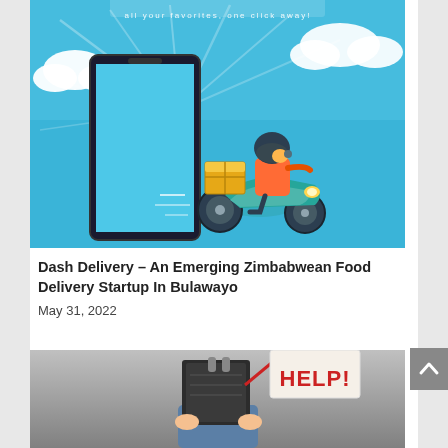[Figure (illustration): Dash Delivery app promotional image showing a 3D-rendered delivery person in orange jacket riding a teal scooter with a package, emerging from a smartphone screen, on a blue sky background with clouds. Text at top reads 'all your favorites, one click away!']
Dash Delivery – An Emerging Zimbabwean Food Delivery Startup In Bulawayo
May 31, 2022
[Figure (photo): Person holding open binder/folder over their face with a red sign reading 'HELP!' sticking out from behind it, suggesting a work or technology problem.]